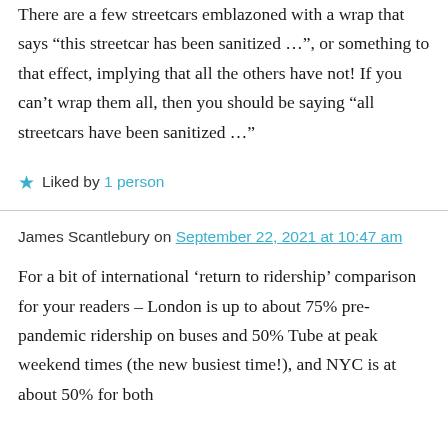There are a few streetcars emblazoned with a wrap that says “this streetcar has been sanitized …”, or something to that effect, implying that all the others have not! If you can’t wrap them all, then you should be saying “all streetcars have been sanitized …”
★ Liked by 1 person
James Scantlebury on September 22, 2021 at 10:47 am
For a bit of international ‘return to ridership’ comparison for your readers – London is up to about 75% pre-pandemic ridership on buses and 50% Tube at peak weekend times (the new busiest time!), and NYC is at about 50% for both